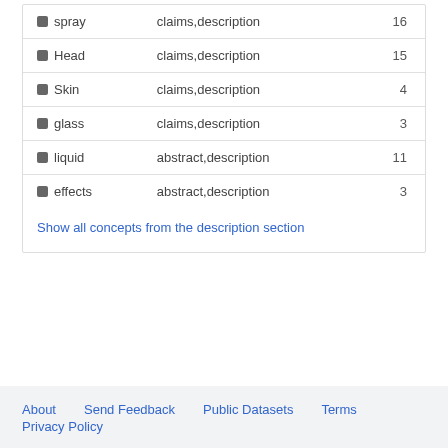| Concept | Section | Count |
| --- | --- | --- |
| spray | claims,description | 16 |
| Head | claims,description | 15 |
| Skin | claims,description | 4 |
| glass | claims,description | 3 |
| liquid | abstract,description | 11 |
| effects | abstract,description | 3 |
Show all concepts from the description section
About   Send Feedback   Public Datasets   Terms   Privacy Policy